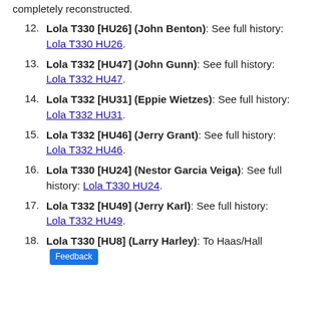completely reconstructed.
12. Lola T330 [HU26] (John Benton): See full history: Lola T330 HU26.
13. Lola T332 [HU47] (John Gunn): See full history: Lola T332 HU47.
14. Lola T332 [HU31] (Eppie Wietzes): See full history: Lola T332 HU31.
15. Lola T332 [HU46] (Jerry Grant): See full history: Lola T332 HU46.
16. Lola T330 [HU24] (Nestor Garcia Veiga): See full history: Lola T330 HU24.
17. Lola T332 [HU49] (Jerry Karl): See full history: Lola T332 HU49.
18. Lola T330 [HU8] (Larry Harley): To Haas/Hall